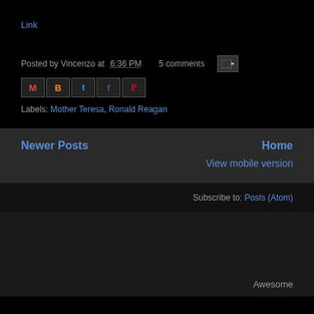Link
Posted by Vincenzo at 6:36 PM   5 comments
[Figure (other): Social share icon buttons: Gmail, Blogger, Twitter, Facebook, Pinterest]
Labels: Mother Teresa, Ronald Reagan
Newer Posts   Home
View mobile version
Subscribe to: Posts (Atom)
Awesome